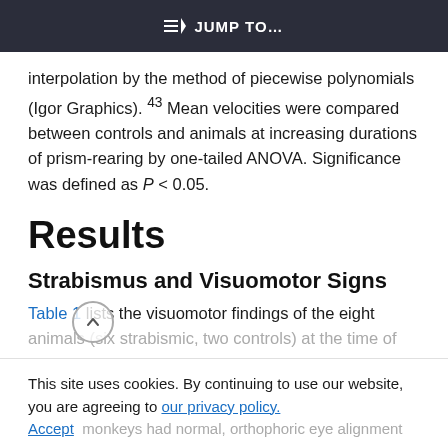JUMP TO…
interpolation by the method of piecewise polynomials (Igor Graphics). 43 Mean velocities were compared between controls and animals at increasing durations of prism-rearing by one-tailed ANOVA. Significance was defined as P < 0.05.
Results
Strabismus and Visuomotor Signs
Table 1 lists the visuomotor findings of the eight animals (six strabismic, two controls) at the time of
This site uses cookies. By continuing to use our website, you are agreeing to our privacy policy. Accept